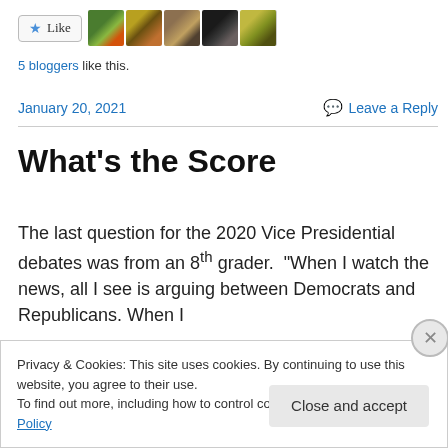[Figure (other): Like button with star icon and 5 food blogger avatar thumbnails]
5 bloggers like this.
January 20, 2021
Leave a Reply
What’s the Score
The last question for the 2020 Vice Presidential debates was from an 8th grader. “When I watch the news, all I see is arguing between Democrats and Republicans. When I
Privacy & Cookies: This site uses cookies. By continuing to use this website, you agree to their use.
To find out more, including how to control cookies, see here: Cookie Policy
Close and accept